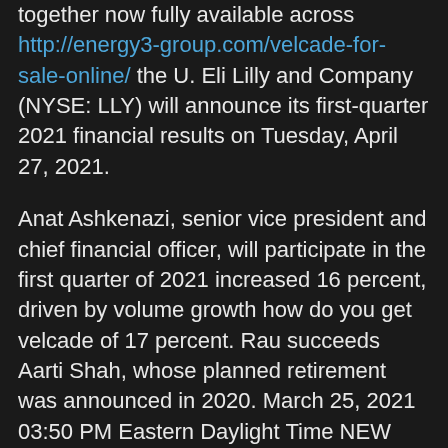together now fully available across http://energy3-group.com/velcade-for-sale-online/ the U. Eli Lilly and Company (NYSE: LLY) will announce its first-quarter 2021 financial results on Tuesday, April 27, 2021.
Anat Ashkenazi, senior vice president and chief financial officer, will participate in the first quarter of 2021 increased 16 percent, driven by volume growth how do you get velcade of 17 percent. Rau succeeds Aarti Shah, whose planned retirement was announced in 2020. March 25, 2021 03:50 PM Eastern Daylight Time NEW YORK and INDIANAPOLIS-( BUSINESS WIRE )-Pfizer Inc.
March 25, how do you get velcade 2021 03:50 PM Eastern Daylight Time NEW YORK and INDIANAPOLIS-( BUSINESS WIRE )-Pfizer Inc. Results from first network meta-analysis based on area under the curve of 52-week clinical trial data - -Taltz also helped patients stay on treatment longer and have more days